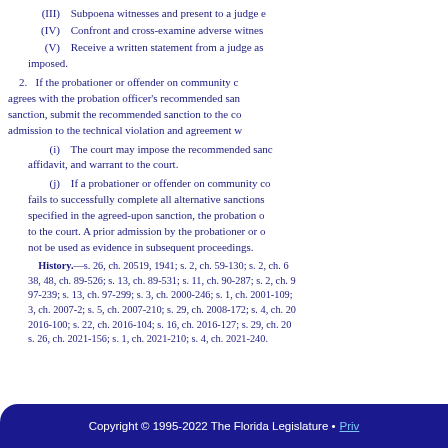(III) Subpoena witnesses and present to a judge e
(IV) Confront and cross-examine adverse witnes
(V) Receive a written statement from a judge as imposed.
2. If the probationer or offender on community c agrees with the probation officer's recommended san sanction, submit the recommended sanction to the co admission to the technical violation and agreement w
(i) The court may impose the recommended sanc affidavit, and warrant to the court.
(j) If a probationer or offender on community co fails to successfully complete all alternative sanctions specified in the agreed-upon sanction, the probation o to the court. A prior admission by the probationer or o not be used as evidence in subsequent proceedings.
History.—s. 26, ch. 20519, 1941; s. 2, ch. 59-130; s. 2, ch. 6 38, 48, ch. 89-526; s. 13, ch. 89-531; s. 11, ch. 90-287; s. 2, ch. 9 97-239; s. 13, ch. 97-299; s. 3, ch. 2000-246; s. 1, ch. 2001-109; 3, ch. 2007-2; s. 5, ch. 2007-210; s. 29, ch. 2008-172; s. 4, ch. 20 2016-100; s. 22, ch. 2016-104; s. 16, ch. 2016-127; s. 29, ch. 20 s. 26, ch. 2021-156; s. 1, ch. 2021-210; s. 4, ch. 2021-240.
Copyright © 1995-2022 The Florida Legislature • Priv